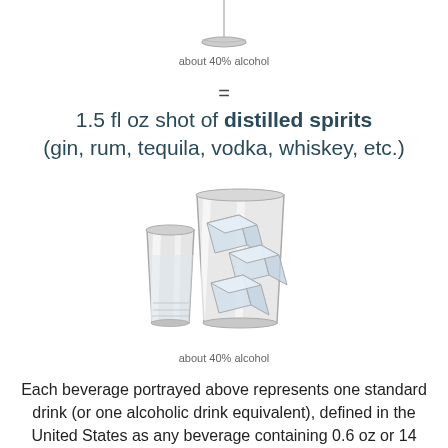about 40% alcohol
=
1.5 fl oz shot of distilled spirits (gin, rum, tequila, vodka, whiskey, etc.)
[Figure (illustration): Illustration of a shot glass beside a rocks glass with ice cubes, representing a 1.5 fl oz shot of distilled spirits]
about 40% alcohol
Each beverage portrayed above represents one standard drink (or one alcoholic drink equivalent), defined in the United States as any beverage containing 0.6 oz or 14 grams of pure alcohol.